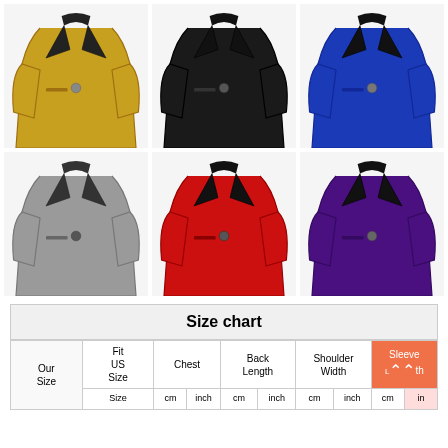[Figure (photo): Six sequin blazer jackets in a 3x2 grid: gold, black, royal blue (top row); silver, red, purple (bottom row)]
| Our Size | Fit US Size | Chest | Back Length | Shoulder Width | Sleeve Length |
| --- | --- | --- | --- | --- | --- |
|  | cm | inch | cm | inch | cm | inch | cm | in |